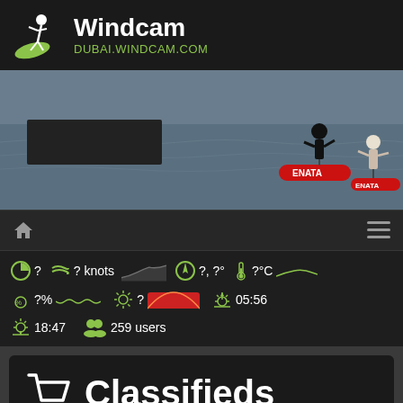[Figure (logo): Windcam logo with windsurfer figure on green surfboard, text 'Windcam' in white bold and 'DUBAI.WINDCAM.COM' in green below]
[Figure (photo): Two people riding ENATA foil boards on water, one in center and one on right side of image]
[Figure (screenshot): Navigation bar with home icon on left and hamburger menu icon on right]
? ? knots ?, ?° ?°C ?% ? 05:56 18:47 259 users
[Figure (infographic): Weather widget showing wind speed (? knots), direction (?,?°), temperature (?°C), humidity (?%), UV index (?), sunrise (05:56), sunset (18:47), and 259 users online with mini sparkline charts]
Classifieds